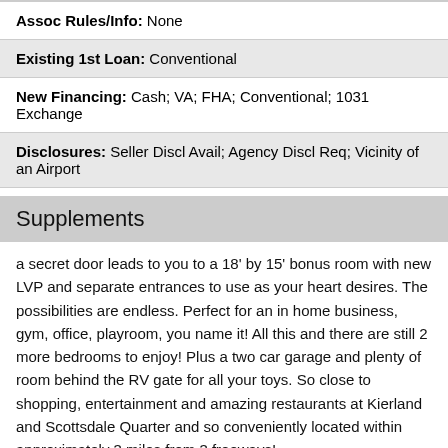Assoc Rules/Info: None
Existing 1st Loan: Conventional
New Financing: Cash; VA; FHA; Conventional; 1031 Exchange
Disclosures: Seller Discl Avail; Agency Discl Req; Vicinity of an Airport
Supplements
a secret door leads to you to a 18' by 15' bonus room with new LVP and separate entrances to use as your heart desires. The possibilities are endless. Perfect for an in home business, gym, office, playroom, you name it! All this and there are still 2 more bedrooms to enjoy! Plus a two car garage and plenty of room behind the RV gate for all your toys. So close to shopping, entertainment and amazing restaurants at Kierland and Scottsdale Quarter and so conveniently located within approximately 3 miles from 3 freeways!